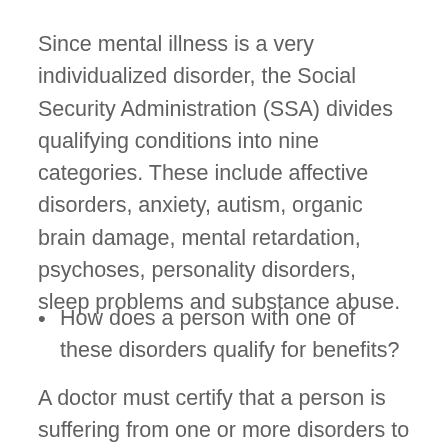Since mental illness is a very individualized disorder, the Social Security Administration (SSA) divides qualifying conditions into nine categories. These include affective disorders, anxiety, autism, organic brain damage, mental retardation, psychoses, personality disorders, sleep problems and substance abuse.
How does a person with one of these disorders qualify for benefits?
A doctor must certify that a person is suffering from one or more disorders to a